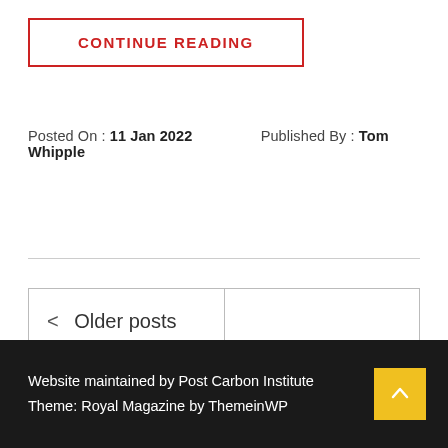CONTINUE READING
Posted On : 11 Jan 2022   Published By : Tom Whipple
| < Older posts |  |
Website maintained by Post Carbon Institute
Theme: Royal Magazine by ThemeinWP